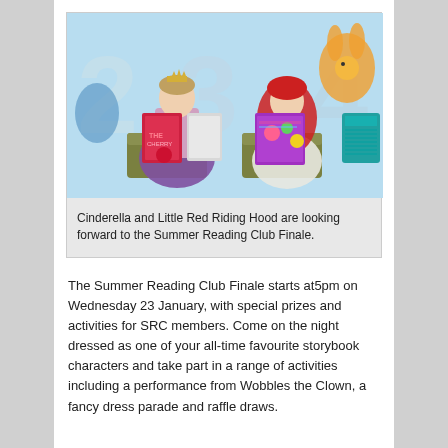[Figure (photo): Two women dressed as storybook characters — Cinderella (wearing a tiara and purple dress, holding a red book) and Little Red Riding Hood (wearing a red cape and hood, holding a colourful illustrated book) — seated in chairs in front of a colourful illustrated backdrop featuring numbers and cartoon animals.]
Cinderella and Little Red Riding Hood are looking forward to the Summer Reading Club Finale.
The Summer Reading Club Finale starts at5pm on Wednesday 23 January, with special prizes and activities for SRC members. Come on the night dressed as one of your all-time favourite storybook characters and take part in a range of activities including a performance from Wobbles the Clown, a fancy dress parade and raffle draws.